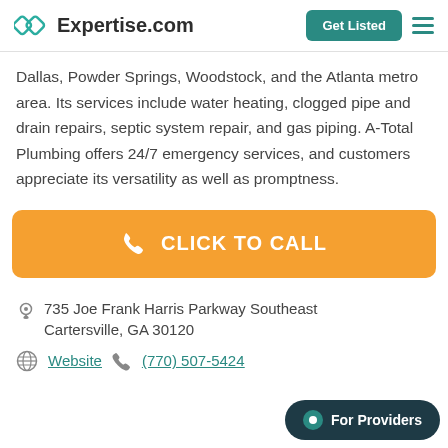Expertise.com — Get Listed
Dallas, Powder Springs, Woodstock, and the Atlanta metro area. Its services include water heating, clogged pipe and drain repairs, septic system repair, and gas piping. A-Total Plumbing offers 24/7 emergency services, and customers appreciate its versatility as well as promptness.
[Figure (other): Orange 'CLICK TO CALL' button with phone icon]
735 Joe Frank Harris Parkway Southeast Cartersville, GA 30120
Website   (770) 507-5424
[Figure (other): Dark teal 'For Providers' chat button in bottom-right corner]